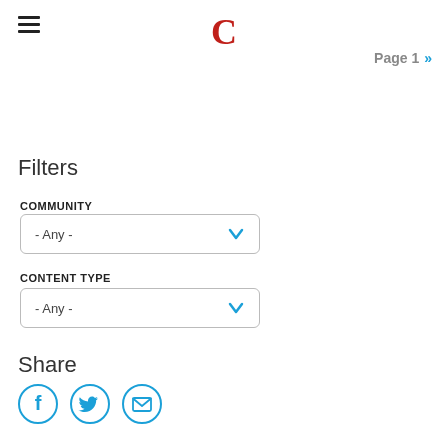C (logo)
Page 1 »
Filters
COMMUNITY
- Any -
CONTENT TYPE
- Any -
Share